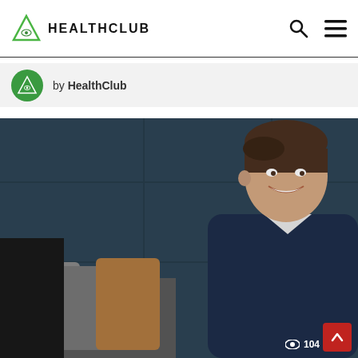HEALTHCLUB
by HealthClub
[Figure (photo): A smiling young man in a navy blazer and white t-shirt, seated on a sofa with grey and brown cushions, against a dark teal panelled wall background.]
104